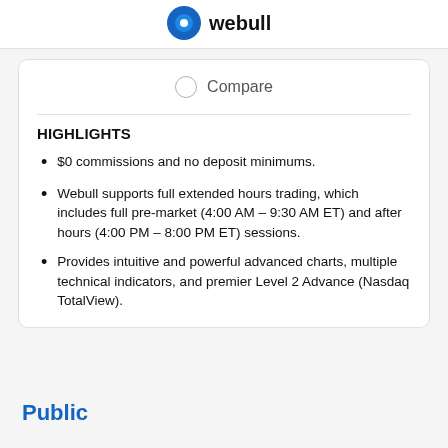[Figure (logo): Webull logo — blue circle icon and 'webull' text in dark/black]
Compare
HIGHLIGHTS
$0 commissions and no deposit minimums.
Webull supports full extended hours trading, which includes full pre-market (4:00 AM – 9:30 AM ET) and after hours (4:00 PM – 8:00 PM ET) sessions.
Provides intuitive and powerful advanced charts, multiple technical indicators, and premier Level 2 Advance (Nasdaq TotalView).
Public